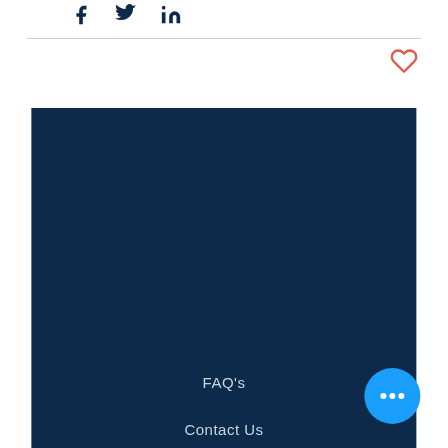[Figure (other): Social media share icons: Facebook (f), Twitter (bird), LinkedIn (in) in dark navy]
[Figure (other): Heart/like icon outline in red-orange color]
[Figure (other): Dark navy footer panel with FAQ's and Contact Us navigation links, and a blue circular more-options button with three dots]
FAQ's
Contact Us